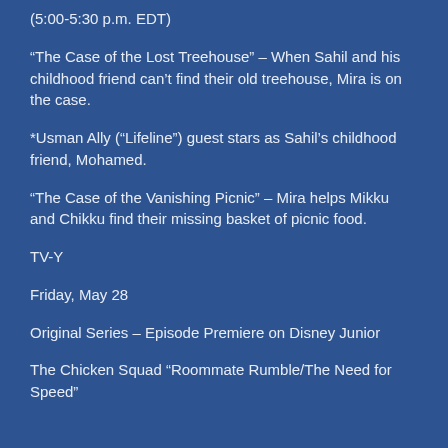(5:00-5:30 p.m. EDT)
“The Case of the Lost Treehouse” – When Sahil and his childhood friend can’t find their old treehouse, Mira is on the case.
*Usman Ally (“Lifeline”) guest stars as Sahil’s childhood friend, Mohamed.
“The Case of the Vanishing Picnic” – Mira helps Mikku and Chikku find their missing basket of picnic food.
TV-Y
Friday, May 28
Original Series – Episode Premiere on Disney Junior
The Chicken Squad “Roommate Rumble/The Need for Speed”